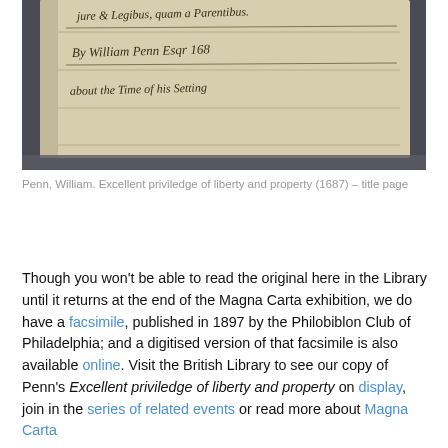[Figure (photo): Close-up photo of an aged handwritten manuscript page showing old cursive script. Legible text includes 'jure & Legibus, quam a Parentibus.' and 'By William Penn Esqr 168' and 'about the Time of his Setting'. The paper appears yellowed and worn.]
Penn, William. Excellent priviledge of liberty and property (1687) – title page
Though you won't be able to read the original here in the Library until it returns at the end of the Magna Carta exhibition, we do have a facsimile, published in 1897 by the Philobiblon Club of Philadelphia; and a digitised version of that facsimile is also available online. Visit the British Library to see our copy of Penn's Excellent priviledge of liberty and property on display, join in the series of related events or read more about Magna Carta